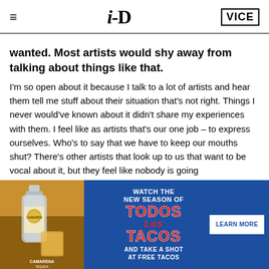i-D  VICE
wanted. Most artists would shy away from talking about things like that.
I'm so open about it because I talk to a lot of artists and hear them tell me stuff about their situation that's not right. Things I never would've known about it didn't share my experiences with them. I feel like as artists that's our one job – to express ourselves. Who's to say that we have to keep our mouths shut? There's other artists that look up to us that want to be vocal about it, but they feel like nobody is going
[Figure (infographic): Advertisement banner for Camarena Tequila and 'Todos Los Tacos' show. Left side shows a bottle of Camarena tequila with a cocktail drink on a colorful background. Right side has a blue background with white and red text reading 'WATCH THE NEW SEASON OF TODOS LOS TACOS AND TAKE A SHOT AT FREE TACOS' and a white 'LEARN MORE' button.]